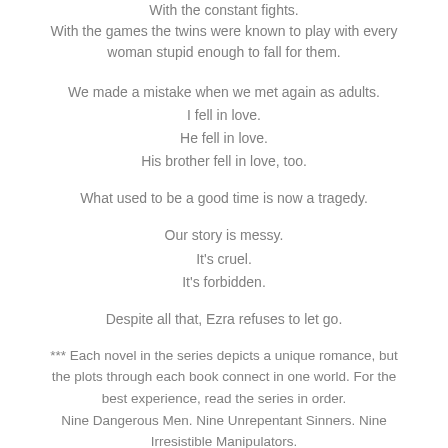With the constant fights.
With the games the twins were known to play with every woman stupid enough to fall for them.
We made a mistake when we met again as adults.
I fell in love.
He fell in love.
His brother fell in love, too.
What used to be a good time is now a tragedy.
Our story is messy.
It's cruel.
It's forbidden.
Despite all that, Ezra refuses to let go.
*** Each novel in the series depicts a unique romance, but the plots through each book connect in one world. For the best experience, read the series in order.
Nine Dangerous Men. Nine Unrepentant Sinners. Nine Irresistible Manipulators.